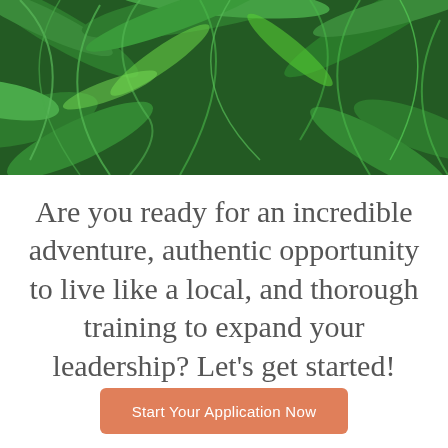[Figure (photo): Tropical green palm leaves and foliage filling the banner area at the top of the page]
Are you ready for an incredible adventure, authentic opportunity to live like a local, and thorough training to expand your leadership? Let's get started!
Start Your Application Now